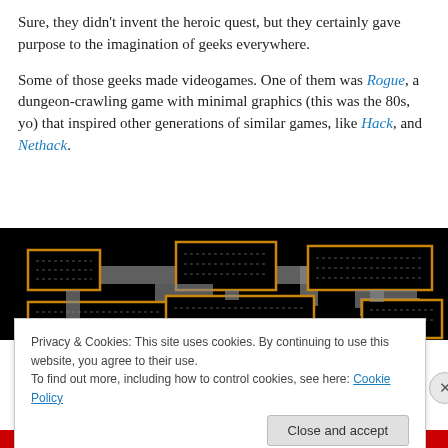Sure, they didn't invent the heroic quest, but they certainly gave purpose to the imagination of geeks everywhere.
Some of those geeks made videogames. One of them was Rogue, a dungeon-crawling game with minimal graphics (this was the 80s, yo) that inspired other generations of similar games, like Hack, and Nethack.
[Figure (screenshot): Screenshot of the Rogue dungeon-crawling game showing black background with orange-bordered rooms connected by gray corridors]
Privacy & Cookies: This site uses cookies. By continuing to use this website, you agree to their use.
To find out more, including how to control cookies, see here: Cookie Policy